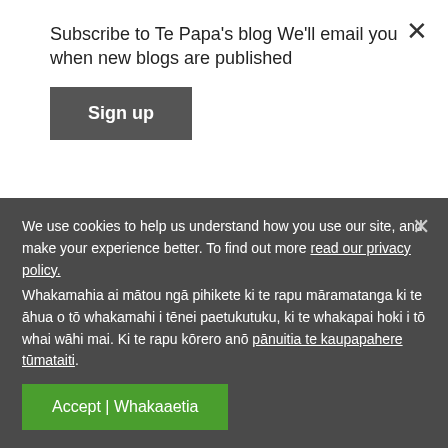Subscribe to Te Papa's blog We'll email you when new blogs are published
Sign up
a muscular tongue and an extendible pouch below the bill, these adaptations recall those of baleen whales, which feed in a similar way. Perhaps this is why prions are sometimes referred to as ‘whale-birds’.
We use cookies to help us understand how you use our site, and make your experience better. To find out more read our privacy policy. Whakamahia ai mātou ngā pihikete ki te rapu māramatanga ki te āhua o tō whakamahi i tēnei paetukutuku, ki te whakapai hoki i tō whai wāhi mai. Ki te rapu kōrero anō pānuitia te kaupapahere tūmataiti.
Accept | Whakaaetia